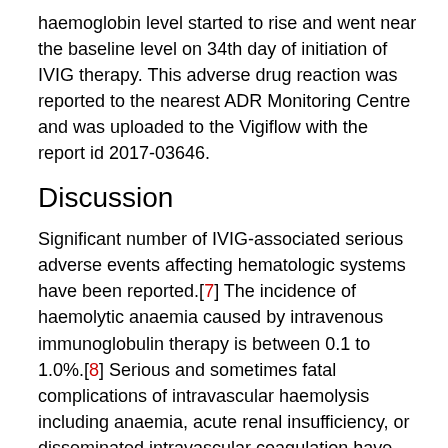haemoglobin level started to rise and went near the baseline level on 34th day of initiation of IVIG therapy. This adverse drug reaction was reported to the nearest ADR Monitoring Centre and was uploaded to the Vigiflow with the report id 2017-03646.
Discussion
Significant number of IVIG-associated serious adverse events affecting hematologic systems have been reported.[7] The incidence of haemolytic anaemia caused by intravenous immunoglobulin therapy is between 0.1 to 1.0%.[8] Serious and sometimes fatal complications of intravascular haemolysis including anaemia, acute renal insufficiency, or disseminated intravascular coagulation have been rarely reported. [7] Haemolytic anaemia is a potentially serious and possibly under recognized side effect of IVIG therapy [Figures 1 and 2; Table 1]. The aetiology of clinically significant haemolysis in patients treated with IVIG is multifactorial. Isohemagglutinins (anti-A/B antibodies) present in IVIG can cause direct antibody attack on RBCs.[9] Factors that may increase the risk for haemolysis include the dose of IVIG, the titre of the isohemagglutinin antibody in the IVIG preparation, the strength of the patient's